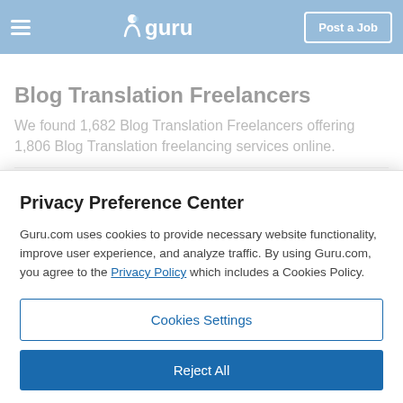Guru — Post a Job
Blog Translation Freelancers
We found 1,682 Blog Translation Freelancers offering 1,806 Blog Translation freelancing services online.
Privacy Preference Center
Guru.com uses cookies to provide necessary website functionality, improve user experience, and analyze traffic. By using Guru.com, you agree to the Privacy Policy which includes a Cookies Policy.
Cookies Settings
Reject All